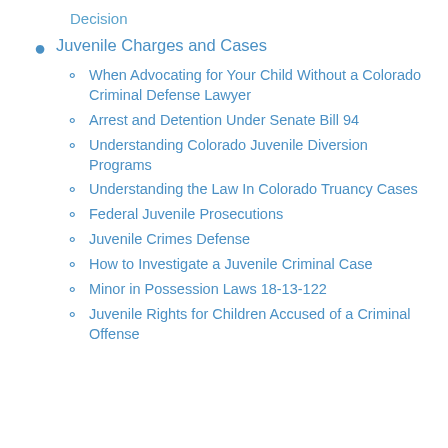Decision
Juvenile Charges and Cases
When Advocating for Your Child Without a Colorado Criminal Defense Lawyer
Arrest and Detention Under Senate Bill 94
Understanding Colorado Juvenile Diversion Programs
Understanding the Law In Colorado Truancy Cases
Federal Juvenile Prosecutions
Juvenile Crimes Defense
How to Investigate a Juvenile Criminal Case
Minor in Possession Laws 18-13-122
Juvenile Rights for Children Accused of a Criminal Offense